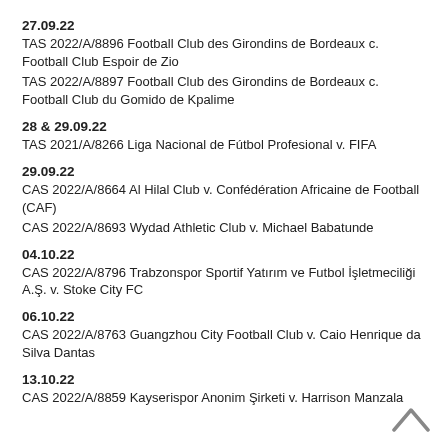27.09.22
TAS 2022/A/8896 Football Club des Girondins de Bordeaux c. Football Club Espoir de Zio
TAS 2022/A/8897 Football Club des Girondins de Bordeaux c. Football Club du Gomido de Kpalime
28 & 29.09.22
TAS 2021/A/8266 Liga Nacional de Fútbol Profesional v. FIFA
29.09.22
CAS 2022/A/8664 Al Hilal Club v. Confédération Africaine de Football (CAF)
CAS 2022/A/8693 Wydad Athletic Club v. Michael Babatunde
04.10.22
CAS 2022/A/8796 Trabzonspor Sportif Yatırım ve Futbol İşletmeciliği A.Ş. v. Stoke City FC
06.10.22
CAS 2022/A/8763 Guangzhou City Football Club v. Caio Henrique da Silva Dantas
13.10.22
CAS 2022/A/8859 Kayserispor Anonim Şirketi v. Harrison Manzala